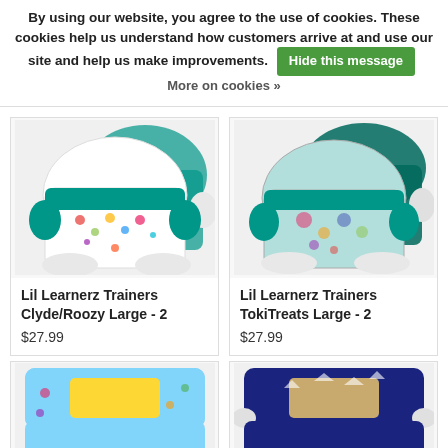By using our website, you agree to the use of cookies. These cookies help us understand how customers arrive at and use our site and help us make improvements. Hide this message More on cookies »
[Figure (photo): Lil Learnerz Trainers Clyde/Roozy Large diaper product photo]
Lil Learnerz Trainers Clyde/Roozy Large - 2
$27.99
[Figure (photo): Lil Learnerz Trainers TokiTreats Large diaper product photo]
Lil Learnerz Trainers TokiTreats Large - 2
$27.99
[Figure (photo): Lil Learnerz Trainers product photo bottom-left, light blue pattern with yellow]
[Figure (photo): Lil Learnerz Trainers product photo bottom-right, dark navy with sailboat pattern]